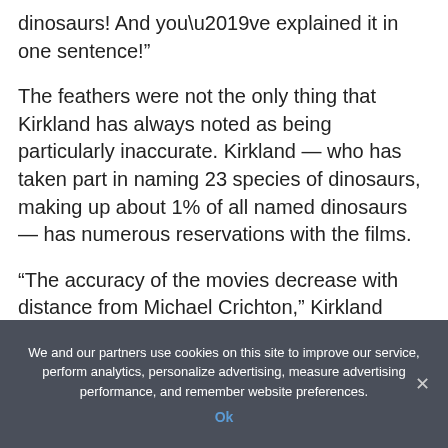dinosaurs! And you’ve explained it in one sentence!”
The feathers were not the only thing that Kirkland has always noted as being particularly inaccurate. Kirkland — who has taken part in naming 23 species of dinosaurs, making up about 1% of all named dinosaurs — has numerous reservations with the films.
“The accuracy of the movies decrease with distance from Michael Crichton,” Kirkland
We and our partners use cookies on this site to improve our service, perform analytics, personalize advertising, measure advertising performance, and remember website preferences.
Ok